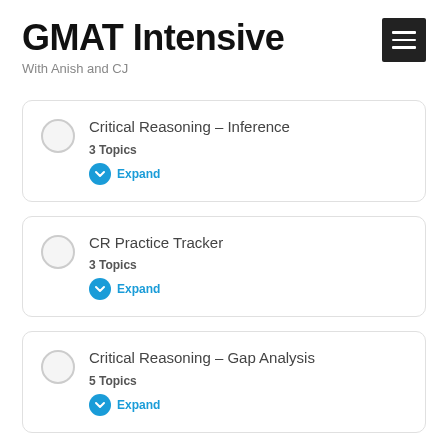GMAT Intensive
With Anish and CJ
Critical Reasoning – Inference
3 Topics
Expand
CR Practice Tracker
3 Topics
Expand
Critical Reasoning – Gap Analysis
5 Topics
Expand